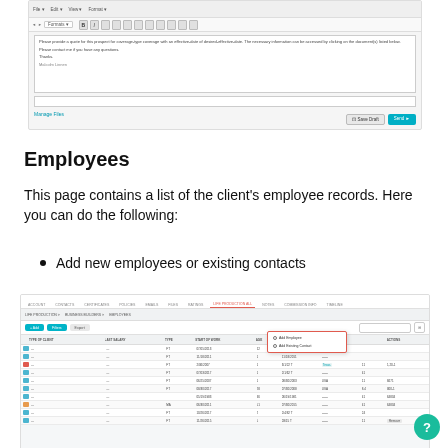[Figure (screenshot): Email/message compose window with toolbar, formatting bar, message body, CC field, Manage files link, Save Draft and Send buttons]
Employees
This page contains a list of the client's employee records. Here you can do the following:
Add new employees or existing contacts
[Figure (screenshot): Employee records table with tabs, action bar with +Add, Filters, Export buttons and a dropdown showing filter options including Add Employee and Add Existing Contact options highlighted in red border, columns for Type of Client, Last Salary, Type, Start of Work, Age, Order, Seniority, etc.]